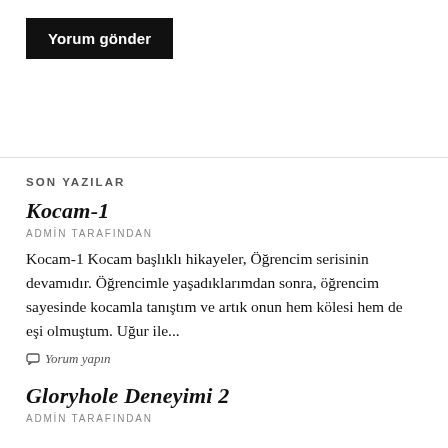Yorum gönder
SON YAZILAR
Kocam-1
ADMİN TARAFINDAN
Kocam-1 Kocam başlıklı hikayeler, Öğrencim serisinin devamıdır. Öğrencimle yaşadıklarımdan sonra, öğrencim sayesinde kocamla tanıştım ve artık onun hem kölesi hem de eşi olmuştum. Uğur ile...
Yorum yapın
Gloryhole Deneyimi 2
ADMİN TARAFINDAN